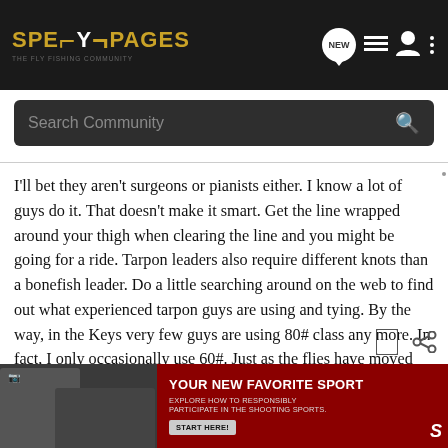SPEYPAGES
I'll bet they aren't surgeons or pianists either. I know a lot of guys do it. That doesn't make it smart. Get the line wrapped around your thigh when clearing the line and you might be going for a ride. Tarpon leaders also require different knots than a bonefish leader. Do a little searching around on the web to find out what experienced tarpon guys are using and tying. By the way, in the Keys very few guys are using 80# class any more. In fact, I only occasionally use 60#. Just as the flies have moved from 4/0-5/0 down to 1/0 and even sometimes smaller, the class tippets are now often 40#-50# FC. Spooky fish!
[Figure (screenshot): Advertisement banner: YOUR NEW FAVORITE SPORT — EXPLORE HOW TO RESPONSIBLY PARTICIPATE IN THE SHOOTING SPORTS. START HERE!]